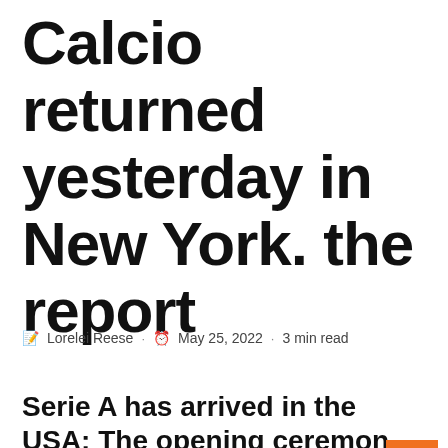Calcio returned yesterday in New York. the report
Lorelei Reese · May 25, 2022 · 3 min read
Serie A has arrived in the USA: The opening ceremony was held yesterday at the